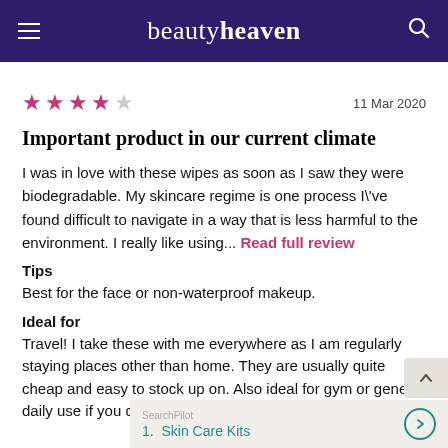beautyheaven
★★★★☆   11 Mar 2020
Important product in our current climate
I was in love with these wipes as soon as I saw they were biodegradable. My skincare regime is one process I've found difficult to navigate in a way that is less harmful to the environment. I really like using... Read full review
Tips
Best for the face or non-waterproof makeup.
Ideal for
Travel! I take these with me everywhere as I am regularly staying places other than home. They are usually quite cheap and easy to stock up on. Also ideal for gym or general daily use if you do